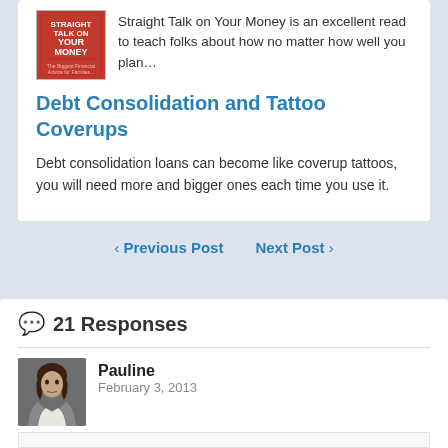[Figure (photo): Book cover of Straight Talk on Your Money with red background and white text]
Straight Talk on Your Money is an excellent read to teach folks about how no matter how well you plan…
Debt Consolidation and Tattoo Coverups
Debt consolidation loans can become like coverup tattoos, you will need more and bigger ones each time you use it.
‹ Previous Post   Next Post ›
21 Responses
[Figure (photo): Avatar photo of Pauline, a woman with dark curly hair]
Pauline
February 3, 2013